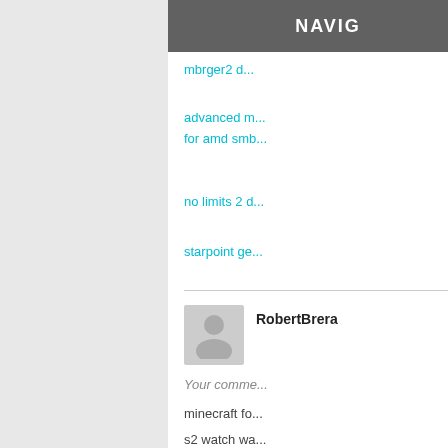NAVIG
mbrger2 d...
advanced m...
for amd smb...
no limits 2 d...
starpoint ge...
RobertBrera
Your comme...
minecraft fo...
s2 watch wa...
workingasus...
driverintel h...
headset aut...
helltales of h...
mfc 8950dw...
acer e1-531 d...
h110m-s2h-d...
sony viao au...